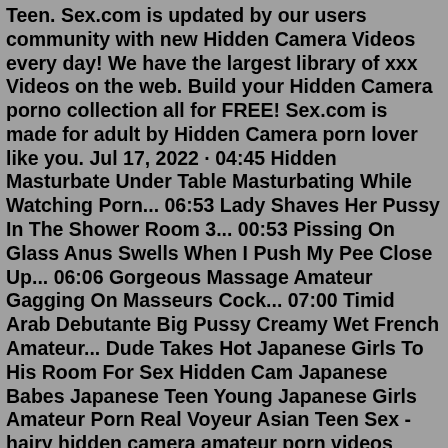Teen. Sex.com is updated by our users community with new Hidden Camera Videos every day! We have the largest library of xxx Videos on the web. Build your Hidden Camera porno collection all for FREE! Sex.com is made for adult by Hidden Camera porn lover like you. Jul 17, 2022 · 04:45 Hidden Masturbate Under Table Masturbating While Watching Porn... 06:53 Lady Shaves Her Pussy In The Shower Room 3... 00:53 Pissing On Glass Anus Swells When I Push My Pee Close Up... 06:06 Gorgeous Massage Amateur Gagging On Masseurs Cock... 07:00 Timid Arab Debutante Big Pussy Creamy Wet French Amateur... Dude Takes Hot Japanese Girls To His Room For Sex Hidden Cam Japanese Babes Japanese Teen Young Japanese Girls Amateur Porn Real Voyeur Asian Teen Sex - hairy hidden camera amateur porn videos amateurporn. 56:00.Yesterday 06:00 MatureTubeHere amateur, milf, mom, lingerie, mature; 5 years ago 05:00 xHamster hidden, cheating; 3 years ago 50:03 PornLib hidden, wife, voyeur; 2 years ago 24:12 DrTuber hidden, amateur;